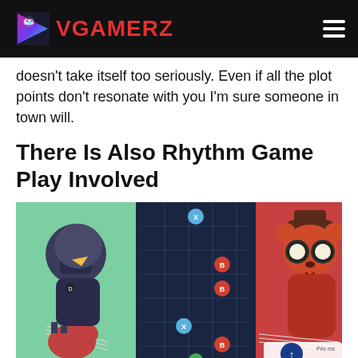VGAMERZ
doesn't take itself too seriously. Even if all the plot points don't resonate with you I'm sure someone in town will.
There Is Also Rhythm Game Play Involved
[Figure (screenshot): Screenshot from a rhythm game featuring colorful cartoon characters playing instruments alongside a fretboard/guitar-neck interface with musical note markers (X, B, A buttons) on a dark blue background.]